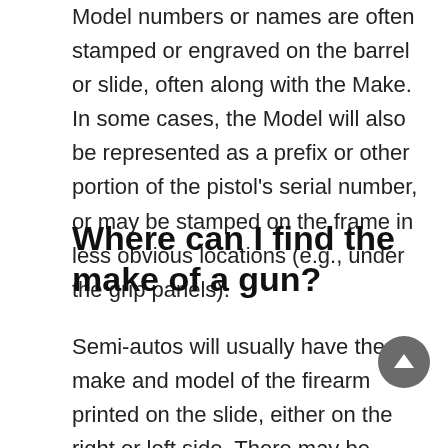Model numbers or names are often stamped or engraved on the barrel or slide, often along with the Make. In some cases, the Model will also be represented as a prefix or other portion of the pistol's serial number, or may be stamped on the frame in less obvious locations (e.g., under the grip panels).
Where can I find the make of a gun?
Semi-autos will usually have the make and model of the firearm printed on the slide, either on the right or left side. There may be certain information printed on both sides. Some guns